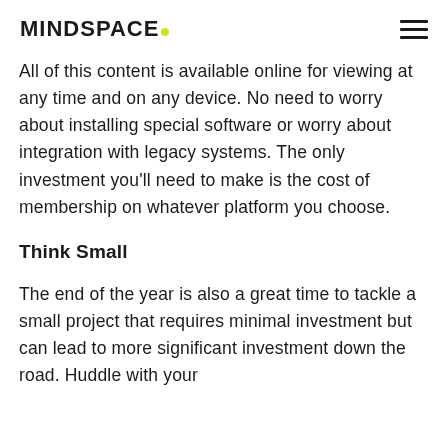MINDSPACE.
All of this content is available online for viewing at any time and on any device. No need to worry about installing special software or worry about integration with legacy systems. The only investment you'll need to make is the cost of membership on whatever platform you choose.
Think Small
The end of the year is also a great time to tackle a small project that requires minimal investment but can lead to more significant investment down the road. Huddle with your